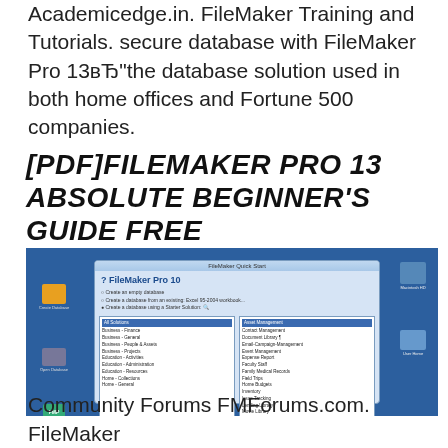Academicedge.in. FileMaker Training and Tutorials. secure database with FileMaker Pro 13вЂ"the database solution used in both home offices and Fortune 500 companies.
[PDF]FILEMAKER PRO 13 ABSOLUTE BEGINNER'S GUIDE FREE
[Figure (screenshot): Screenshot of FileMaker Pro 10 Quick Start dialog showing options to create an empty database, create from existing Excel file, or create using a Starter Solution. Left panel shows solution categories (Business - Finance, Business - General, etc.) and right panel shows specific solutions (Asset Management, Contact Management, etc.)]
Community Forums FMForums.com. FileMaker